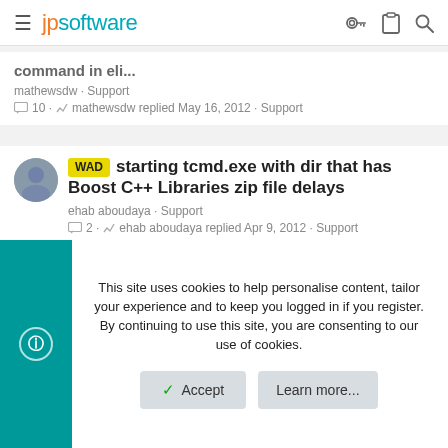jpsoftware
command in eli... mathewsdw · Support 10 · mathewsdw replied May 16, 2012 · Support
WAD starting tcmd.exe with dir that has Boost C++ Libraries zip file delays
ehab aboudaya · Support
2 · ehab aboudaya replied Apr 9, 2012 · Support
Starting shell objects
vefatica · Support
6 · Fross replied Mar 17, 2012 · Support
This site uses cookies to help personalise content, tailor your experience and to keep you logged in if you register.
By continuing to use this site, you are consenting to our use of cookies.
Accept   Learn more...